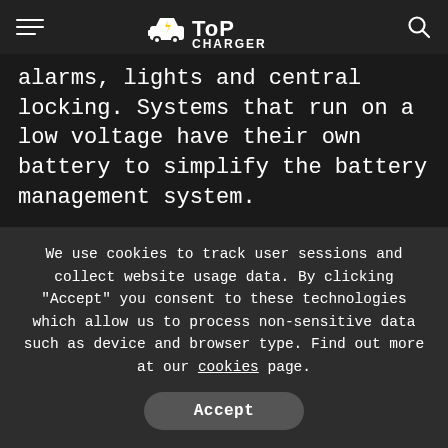ToP CHARGER
alarms, lights and central locking. Systems that run on a low voltage have their own battery to simplify the battery management system.
The 12v battery also powers the car’s ECU (engine control unit), the brain of the car, and
We use cookies to track user sessions and collect website usage data. By clicking “Accept” you consent to these technologies which allow us to process non-sensitive data such as device and browser type. Find out more at our cookies page.
Accept